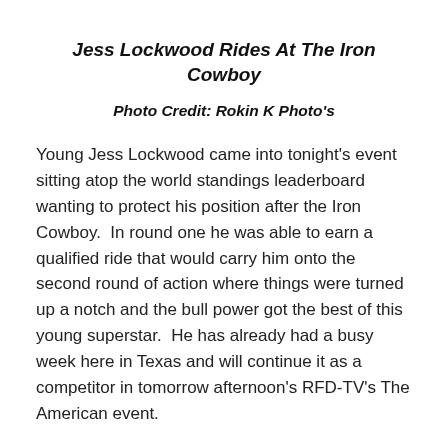Jess Lockwood Rides At The Iron Cowboy
Photo Credit: Rokin K Photo's
Young Jess Lockwood came into tonight's event sitting atop the world standings leaderboard wanting to protect his position after the Iron Cowboy.  In round one he was able to earn a qualified ride that would carry him onto the second round of action where things were turned up a notch and the bull power got the best of this young superstar.  He has already had a busy week here in Texas and will continue it as a competitor in tomorrow afternoon's RFD-TV's The American event.
People say you are only as good as the people you